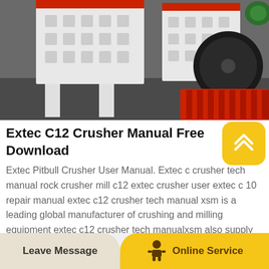[Figure (photo): Industrial crusher machine — white and red heavy machinery with large black and red rollers/wheels, photographed in a factory or outdoor setting on a dark ground surface.]
Extec C12 Crusher Manual Free Download
Extec Pitbull Crusher User Manual. Extec c crusher tech manual rock crusher mill c12 extec crusher user extec c 10 repair manual extec c12 crusher tech manual xsm is a leading global manufacturer of crushing and milling equipment extec c12 crusher tech manualxsm also supply individual extec c12
Leave Message   Online Service